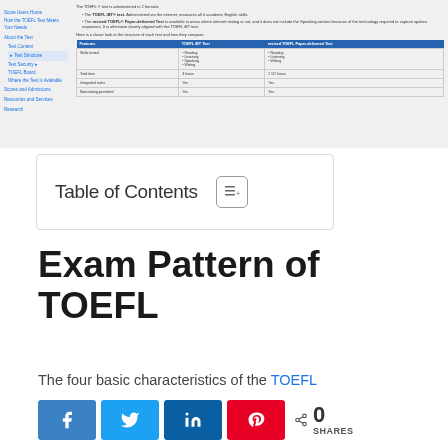[Figure (screenshot): Screenshot of a TOEFL informational webpage showing a sidebar navigation and a comparison table of TOEFL iBT Test vs revised TOEFL Paper-delivered Test features]
| Features | TOEFL iBT Test | revised TOEFL Paper-delivered Test |
| --- | --- | --- |
| Skills tested | Reading
Listening
Speaking
Writing | Reading
Listening
Writing |
| Total time | 3 hours | 2 1/2 hours |
| Integrated tasks | Yes | Yes |
| Note-taking permitted | Yes | Yes |
Table of Contents
Exam Pattern of TOEFL
The four basic characteristics of the TOEFL
[Figure (infographic): Social share buttons: Facebook, Twitter, LinkedIn, Pinterest, and share count showing 0 SHARES]